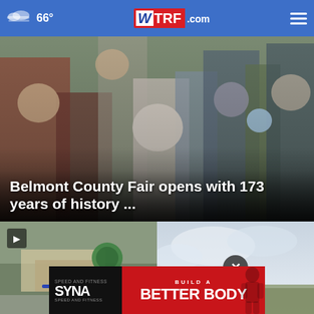66° WTRF.com
[Figure (photo): Crowd of people at Belmont County Fair, elderly man prominent in center, children and adults in background]
Belmont County Fair opens with 173 years of history ...
[Figure (photo): Video thumbnail showing street with building and police lights, play button overlay]
[Figure (photo): Photo of landscape with cloudy sky, close button overlay]
[Figure (other): SYNA Speed and Fitness advertisement: BUILD A BETTER BODY]